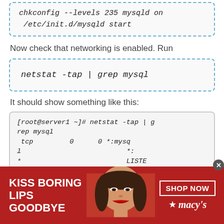chkconfig --levels 235 mysqld on
/etc/init.d/mysqld start
Now check that networking is enabled. Run
netstat -tap | grep mysql
It should show something like this:
[root@server1 ~]# netstat -tap | grep mysql
  tcp        0      0 *:mysql     *:*    LISTEN  1517/mysqld
  [root@server1 ~]#
[Figure (other): Advertisement banner: KISS BORING LIPS GOODBYE with a woman's face and SHOP NOW / Macy's branding]